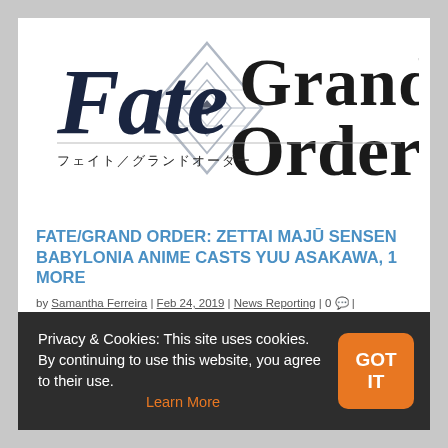[Figure (logo): Fate/Grand Order logo with Japanese subtitle フェイト／グランドオーダー and a geometric diamond emblem in silver/grey]
FATE/GRAND ORDER: ZETTAI MAJŪ SENSEN BABYLONIA ANIME CASTS YUU ASAKAWA, 1 MORE
by Samantha Ferreira | Feb 24, 2019 | News Reporting | 0
Privacy & Cookies: This site uses cookies. By continuing to use this website, you agree to their use. Learn More